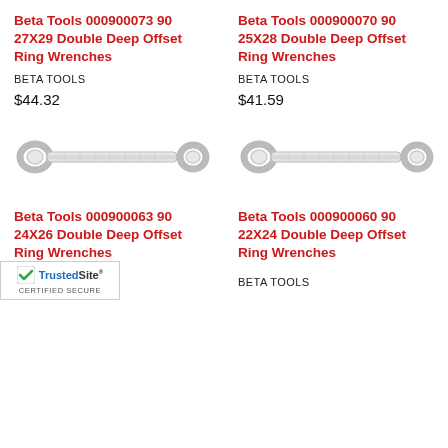Beta Tools 000900073 90 27X29 Double Deep Offset Ring Wrenches
BETA TOOLS
$44.32
Beta Tools 000900070 90 25X28 Double Deep Offset Ring Wrenches
BETA TOOLS
$41.59
[Figure (photo): Double deep offset ring wrench, silver/chrome, with box ends on both sides]
[Figure (photo): Double deep offset ring wrench, silver/chrome, with box ends on both sides]
Beta Tools 000900063 90 24X26 Double Deep Offset Ring Wrenches
Beta Tools 000900060 90 22X24 Double Deep Offset Ring Wrenches
BETA TOOLS
[Figure (logo): TrustedSite Certified Secure badge]